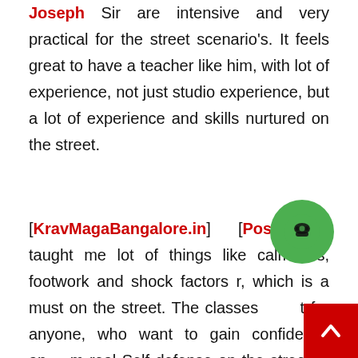Joseph Sir are intensive and very practical for the street scenario's. It feels great to have a teacher like him, with lot of experience, not just studio experience, but a lot of experience and skills nurtured on the street.
[KravMagaBangalore.in] [Post] He taught me lot of things like calmness, footwork and shock factors r, which is a must on the street. The classes t for anyone, who want to gain confidence an m real Self defense on the street. It may not look fancy like other Martial arts, but it is highly effective. One of the most important thing i like about the class postmortem of all the scenarios covered in the class,
[Figure (other): Green circular phone/call button icon]
[Figure (other): Red square scroll-to-top button with upward chevron arrow]